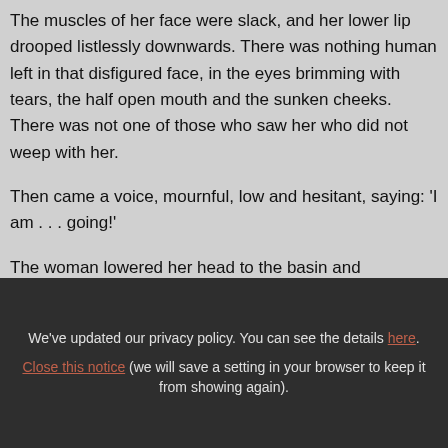The muscles of her face were slack, and her lower lip drooped listlessly downwards. There was nothing human left in that disfigured face, in the eyes brimming with tears, the half open mouth and the sunken cheeks. There was not one of those who saw her who did not weep with her.
Then came a voice, mournful, low and hesitant, saying: 'I am . . . going!'
The woman lowered her head to the basin and
We've updated our privacy policy. You can see the details here. Close this notice (we will save a setting in your browser to keep it from showing again).